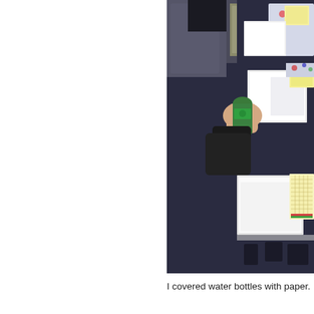[Figure (photo): A photograph showing a dark navy/black table with white paper sheets and colorful floral placemats arranged on it. A person's hand is visible holding a green can or bottle over the table. Yellow sticky notes and a yellow notepad are also on the table.]
I covered water bottles with paper.